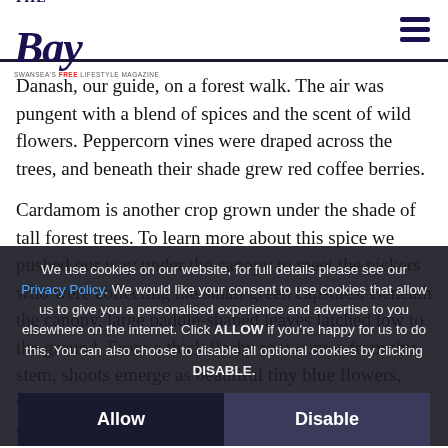The Bay — Swansea's Free Lifestyle Magazine
Danash, our guide, on a forest walk. The air was pungent with a blend of spices and the scent of wild flowers. Peppercorn vines were draped across the trees, and beneath their shade grew red coffee berries.
Cardamom is another crop grown under the shade of tall forest trees. To learn more about this spice we pushed our way under the canopy to meet the pickers who were collecting the small green capsules. Beneath the...
We use cookies on our website, for full details please see our Privacy Policy. We would like your consent to use cookies that allow us to give you a personalised experience and advertise to you elsewhere on the internet. Click ALLOW if you're happy for us to do this. You can also choose to disable all optional cookies by clicking DISABLE.